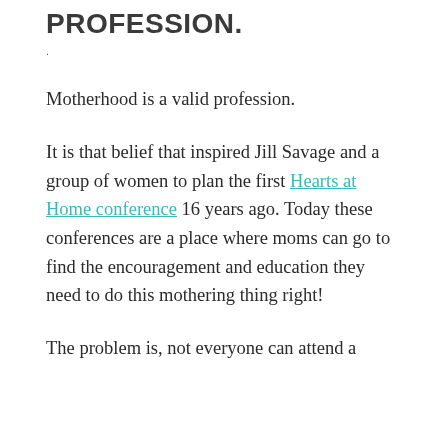PROFESSION.
Motherhood is a valid profession.
It is that belief that inspired Jill Savage and a group of women to plan the first Hearts at Home conference 16 years ago. Today these conferences are a place where moms can go to find the encouragement and education they need to do this mothering thing right!
The problem is, not everyone can attend a